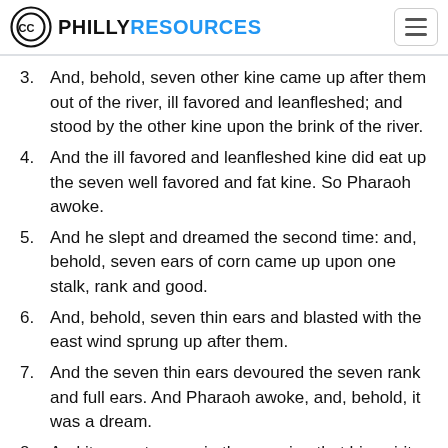CC PHILLY RESOURCES
3. And, behold, seven other kine came up after them out of the river, ill favored and leanfleshed; and stood by the other kine upon the brink of the river.
4. And the ill favored and leanfleshed kine did eat up the seven well favored and fat kine. So Pharaoh awoke.
5. And he slept and dreamed the second time: and, behold, seven ears of corn came up upon one stalk, rank and good.
6. And, behold, seven thin ears and blasted with the east wind sprung up after them.
7. And the seven thin ears devoured the seven rank and full ears. And Pharaoh awoke, and, behold, it was a dream.
8. And it came to pass in the morning that his spirit was troubled: and he sent and called for all the magicians